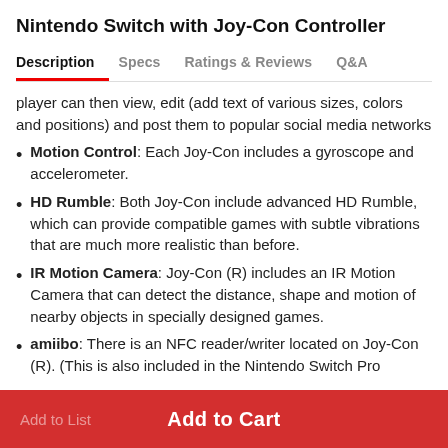Nintendo Switch with Joy-Con Controller
Description  Specs  Ratings & Reviews  Q&A
player can then view, edit (add text of various sizes, colors and positions) and post them to popular social media networks
Motion Control: Each Joy-Con includes a gyroscope and accelerometer.
HD Rumble: Both Joy-Con include advanced HD Rumble, which can provide compatible games with subtle vibrations that are much more realistic than before.
IR Motion Camera: Joy-Con (R) includes an IR Motion Camera that can detect the distance, shape and motion of nearby objects in specially designed games.
amiibo: There is an NFC reader/writer located on Joy-Con (R). (This is also included in the Nintendo Switch Pro
Add to Cart